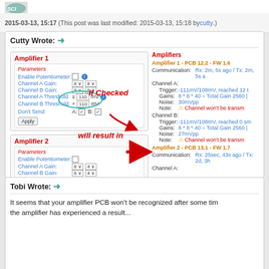[Figure (screenshot): Green logo/avatar at top of forum post]
2015-03-13, 15:17 (This post was last modified: 2015-03-13, 15:18 by cutty.)
Cutty Wrote: →
[Figure (screenshot): Screenshot of amplifier configuration UI showing Amplifier 1 and Amplifier 2 panels with parameters, checkboxes for Don't Send (A and B checked), and annotation arrows saying 'If Checked will result in' pointing to the right panel showing Channel won't be transmitted warnings.]
Tobi Wrote: →
It seems that your amplifier PCB won't be recognized after some tim... the amplifier has experienced a result...